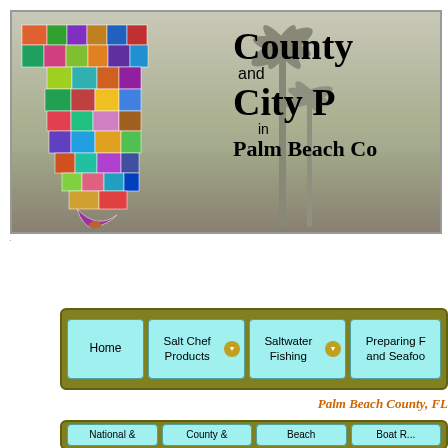[Figure (map): Header banner showing a colorful map of Florida counties overlaid on a grassy/palm tree background photo, with title text 'County and City P in Palm Beach Co' on the right side]
County and City Pages in Palm Beach County
[Figure (screenshot): Navigation menu bar with olive/dark yellow background containing four cyan/light-blue buttons: Home, Salt Chef Products (with dropdown arrow), Saltwater Fishing (with dropdown arrow), Preparing F and Seafoo (truncated)]
Palm Beach County, FL
[Figure (screenshot): Second navigation bar partially visible at bottom with olive background and cyan buttons: National &, County &, Beach, Boat R (all partially shown/truncated)]